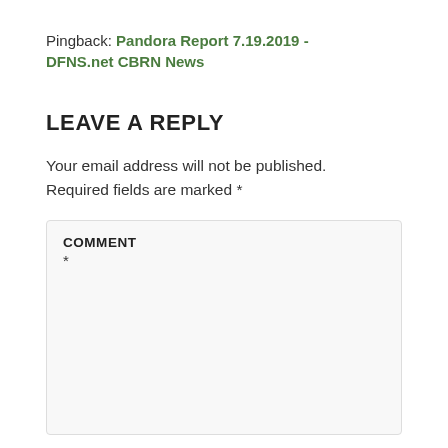Pingback: Pandora Report 7.19.2019 - DFNS.net CBRN News
LEAVE A REPLY
Your email address will not be published. Required fields are marked *
COMMENT *